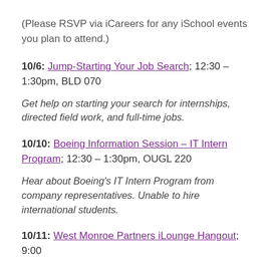(Please RSVP via iCareers for any iSchool events you plan to attend.)
10/6: Jump-Starting Your Job Search; 12:30 – 1:30pm, BLD 070
Get help on starting your search for internships, directed field work, and full-time jobs.
10/10: Boeing Information Session – IT Intern Program; 12:30 – 1:30pm, OUGL 220
Hear about Boeing's IT Intern Program from company representatives. Unable to hire international students.
10/11: West Monroe Partners iLounge Hangout; 9:00